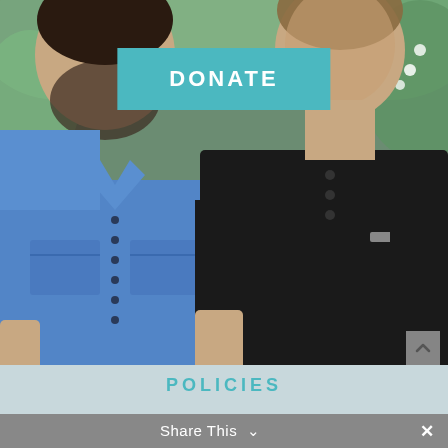[Figure (photo): Two men standing side by side outdoors. Left person wears a blue denim shirt, right person wears a black henley shirt. Green foliage and white flowers visible in background.]
DONATE
POLICIES
Share This ∨
Privacy Policy